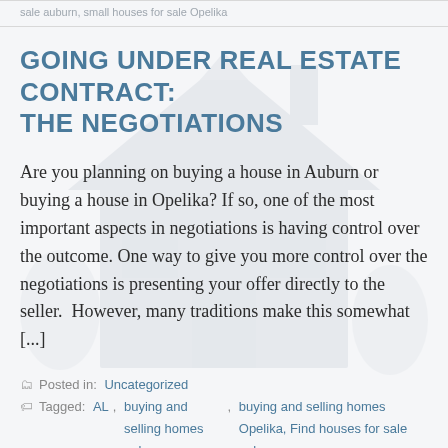sale auburn, small houses for sale Opelika
GOING UNDER REAL ESTATE CONTRACT: THE NEGOTIATIONS
Are you planning on buying a house in Auburn or buying a house in Opelika? If so, one of the most important aspects in negotiations is having control over the outcome. One way to give you more control over the negotiations is presenting your offer directly to the seller.  However, many traditions make this somewhat [...]
Posted in: Uncategorized
Tagged: AL, buying and selling homes auburn, buying and selling homes Opelika, Find houses for sale auburn